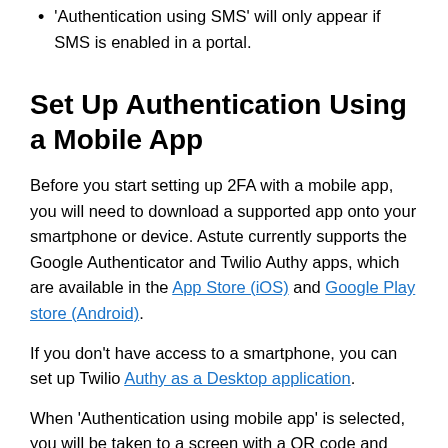'Authentication using SMS' will only appear if SMS is enabled in a portal.
Set Up Authentication Using a Mobile App
Before you start setting up 2FA with a mobile app, you will need to download a supported app onto your smartphone or device. Astute currently supports the Google Authenticator and Twilio Authy apps, which are available in the App Store (iOS) and Google Play store (Android).
If you don't have access to a smartphone, you can set up Twilio Authy as a Desktop application.
When 'Authentication using mobile app' is selected, you will be taken to a screen with a QR code and Secret key.